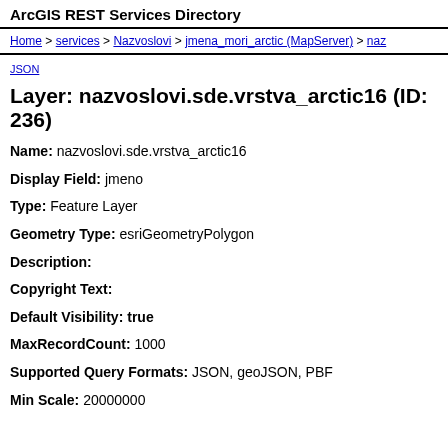ArcGIS REST Services Directory
Home > services > Nazvoslovi > jmena_mori_arctic (MapServer) > naz
JSON
Layer: nazvoslovi.sde.vrstva_arctic16 (ID: 236)
Name: nazvoslovi.sde.vrstva_arctic16
Display Field: jmeno
Type: Feature Layer
Geometry Type: esriGeometryPolygon
Description:
Copyright Text:
Default Visibility: true
MaxRecordCount: 1000
Supported Query Formats: JSON, geoJSON, PBF
Min Scale: 20000000